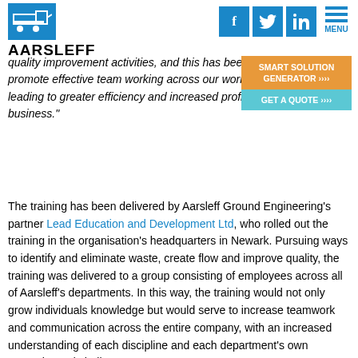Aarsleff logo and navigation header with social icons (Facebook, Twitter, LinkedIn) and menu
quality improvement activities, and this has been a beneficial way to promote effective team working across our workforce whilst also leading to greater efficiency and increased profitability for the overall business."
The training has been delivered by Aarsleff Ground Engineering's partner Lead Education and Development Ltd, who rolled out the training in the organisation's headquarters in Newark. Pursuing ways to identify and eliminate waste, create flow and improve quality, the training was delivered to a group consisting of employees across all of Aarsleff's departments. In this way, the training would not only grow individuals knowledge but would serve to increase teamwork and communication across the entire company, with an increased understanding of each discipline and each department's own strengths and challenges.